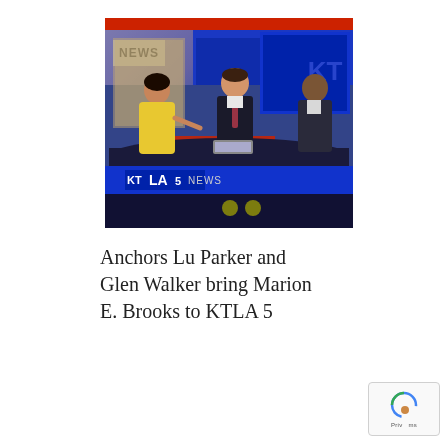[Figure (photo): A TV news studio scene showing three people seated at a curved news desk. The KTLA 5 NEWS logo is visible on the desk. There is a woman in a yellow outfit on the left, a man in a suit in the center, and a man in a jacket on the right. Blue screens and a NEWS sign are visible in the background.]
Anchors Lu Parker and Glen Walker bring Marion E. Brooks to KTLA 5